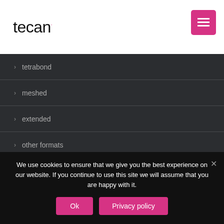tecan
> tetrabond
> meshed
> extended
> other formats
> nano-coating
squeegee blades
We use cookies to ensure that we give you the best experience on our website. If you continue to use this site we will assume that you are happy with it.